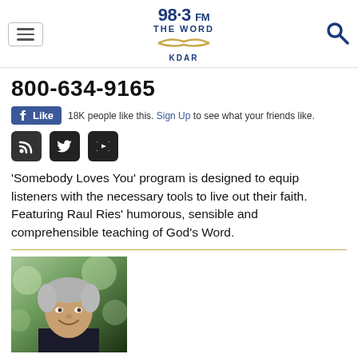98.3 FM THE WORD KDAR
800-634-9165
18K people like this. Sign Up to see what your friends like.
'Somebody Loves You' program is designed to equip listeners with the necessary tools to live out their faith. Featuring Raul Ries' humorous, sensible and comprehensible teaching of God's Word.
[Figure (photo): Portrait photo of a smiling middle-aged man with gray hair wearing a dark shirt, outdoors with blurred background]
6:30PM - 7:00PM